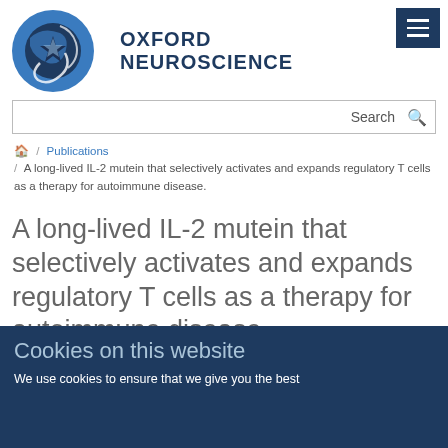[Figure (logo): Oxford Neuroscience logo with circular brain graphic and text OXFORD NEUROSCIENCE]
Search
/ Publications / A long-lived IL-2 mutein that selectively activates and expands regulatory T cells as a therapy for autoimmune disease.
A long-lived IL-2 mutein that selectively activates and expands regulatory T cells as a therapy for autoimmune disease.
Cookies on this website
We use cookies to ensure that we give you the best experience on our website. If you continue, we'll assume that you are happy to receive all cookies on this website.